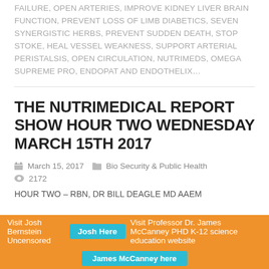FAILURE, OPEN ARTERIES, IMPROVE KIDNEY LIVER BRAIN FUNCTION, PREVENT LOSS OF LIMB DIABETICS, SEVEN SYNERGISTIC HERBS, PREVENT SUDDEN DEATH, STOP STOKE, HEAL VESSEL WEAKNESS, SUPPORT ARTERIAL PERISTALSIS, OPEN CIRCULATION, NUTRIMEDS, OMEGA SUPREME PRO, ENDOPAT AND ENDOTHELIX…
THE NUTRIMEDICAL REPORT SHOW HOUR TWO WEDNESDAY MARCH 15TH 2017
March 15, 2017   Bio Security & Public Health   2172
HOUR TWO – RBN,  DR BILL DEAGLE MD AAEM
Visit Josh Bernstein Uncensored  Josh Here  Visit Professor Dr. James McCanney PHD K-12 science education website  James McCanney here